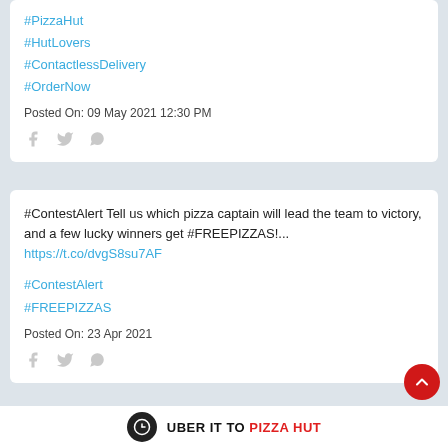#PizzaHut
#HutLovers
#ContactlessDelivery
#OrderNow
Posted On: 09 May 2021 12:30 PM
#ContestAlert Tell us which pizza captain will lead the team to victory, and a few lucky winners get #FREEPIZZAS!...
https://t.co/dvgS8su7AF
#ContestAlert
#FREEPIZZAS
Posted On: 23 Apr 2021
UBER IT TO PIZZA HUT